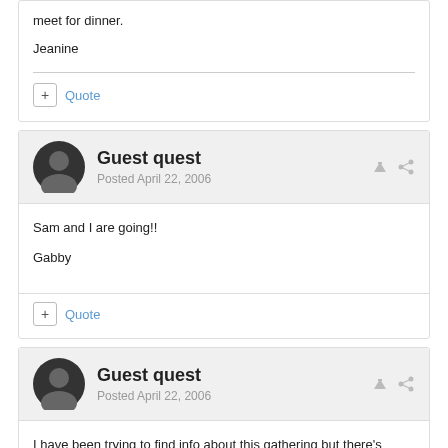meet for dinner.
Jeanine
Quote
Guest quest
Posted April 22, 2006
Sam and I are going!!
Gabby
Quote
Guest quest
Posted April 22, 2006
I have been trying to find info about this gathering but there's nothing on
the website that I got off of someones post and I sent an e-mail to the